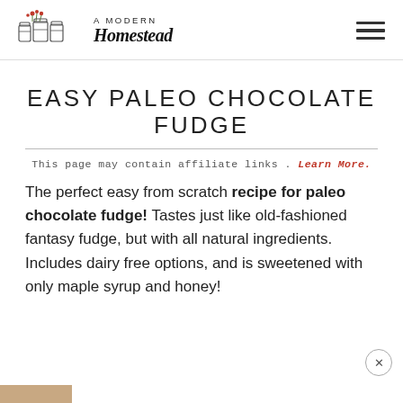A MODERN Homestead
EASY PALEO CHOCOLATE FUDGE
This page may contain affiliate links. Learn More.
The perfect easy from scratch recipe for paleo chocolate fudge! Tastes just like old-fashioned fantasy fudge, but with all natural ingredients. Includes dairy free options, and is sweetened with only maple syrup and honey!